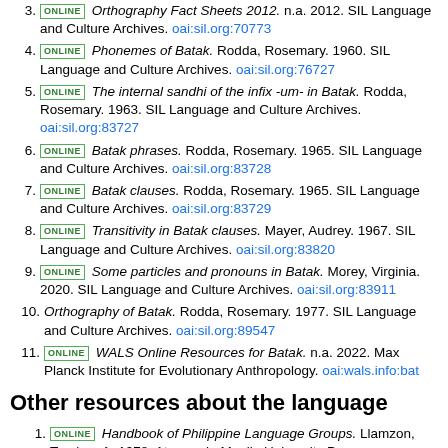3. [ONLINE] Orthography Fact Sheets 2012. n.a. 2012. SIL Language and Culture Archives. oai:sil.org:70773
4. [ONLINE] Phonemes of Batak. Rodda, Rosemary. 1960. SIL Language and Culture Archives. oai:sil.org:76727
5. [ONLINE] The internal sandhi of the infix -um- in Batak. Rodda, Rosemary. 1963. SIL Language and Culture Archives. oai:sil.org:83727
6. [ONLINE] Batak phrases. Rodda, Rosemary. 1965. SIL Language and Culture Archives. oai:sil.org:83728
7. [ONLINE] Batak clauses. Rodda, Rosemary. 1965. SIL Language and Culture Archives. oai:sil.org:83729
8. [ONLINE] Transitivity in Batak clauses. Mayer, Audrey. 1967. SIL Language and Culture Archives. oai:sil.org:83820
9. [ONLINE] Some particles and pronouns in Batak. Morey, Virginia. 2020. SIL Language and Culture Archives. oai:sil.org:83911
10. Orthography of Batak. Rodda, Rosemary. 1977. SIL Language and Culture Archives. oai:sil.org:89547
11. [ONLINE] WALS Online Resources for Batak. n.a. 2022. Max Planck Institute for Evolutionary Anthropology. oai:wals.info:bat
Other resources about the language
1. [ONLINE] Handbook of Philippine Language Groups. Llamzon, Teodoro A. 1978. Ateneo de Manila University Press. oai:refdb.wals.info:4044
2. [ONLINE] Batak; a language of Philippines. n.a. 2018. SIL...